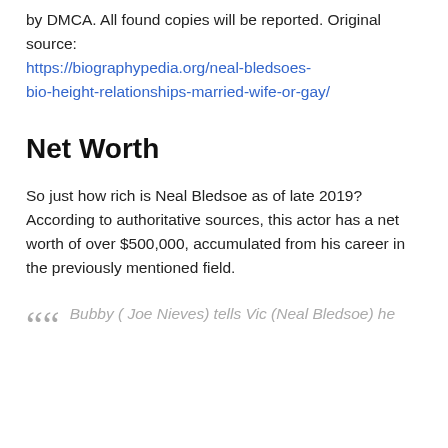by DMCA. All found copies will be reported. Original source: https://biographypedia.org/neal-bledsoes-bio-height-relationships-married-wife-or-gay/
Net Worth
So just how rich is Neal Bledsoe as of late 2019? According to authoritative sources, this actor has a net worth of over $500,000, accumulated from his career in the previously mentioned field.
Bubby ( Joe Nieves) tells Vic (Neal Bledsoe) he